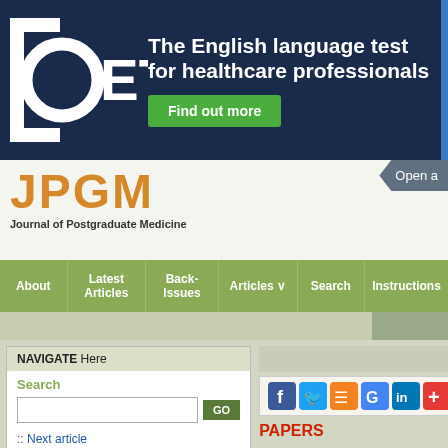[Figure (logo): OET banner ad with logo, tagline 'The English language test for healthcare professionals', and green 'Find out more' button]
JPGM – Journal of Postgraduate Medicine
Open a...
About | Latest Articles | Back-Issues | Articles | Search | Instructions
NAVIGATE Here
Search
:: Next article
:: Previous article
:: Table of Contents
RESOURCE Links
:: Similar in PUBMED
:: Search Pubmed for
Dastur Y K
PAPERS